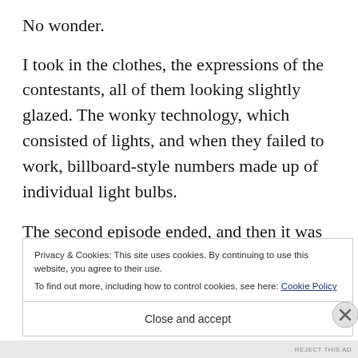No wonder.
I took in the clothes, the expressions of the contestants, all of them looking slightly glazed. The wonky technology, which consisted of lights, and when they failed to work, billboard-style numbers made up of individual light bulbs.
The second episode ended, and then it was time
Privacy & Cookies: This site uses cookies. By continuing to use this website, you agree to their use.
To find out more, including how to control cookies, see here: Cookie Policy
Close and accept